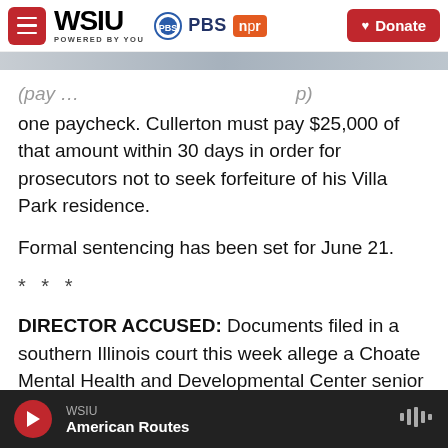WSIU POWERED BY YOU | PBS | npr | Donate
one paycheck. Cullerton must pay $25,000 of that amount within 30 days in order for prosecutors not to seek forfeiture of his Villa Park residence.
Formal sentencing has been set for June 21.
* * *
DIRECTOR ACCUSED: Documents filed in a southern Illinois court this week allege a Choate Mental Health and Developmental Center senior staff member obstructed an Illinois State Police investigation into the abuse of a developmentally
WSIU | American Routes